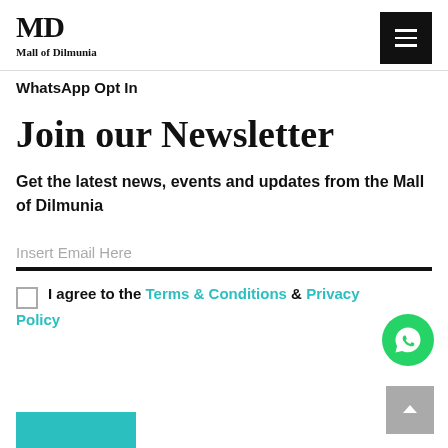[Figure (logo): Mall of Dilmunia logo with stylized MD lettermark and text below]
WhatsApp Opt In
Join our Newsletter
Get the latest news, events and updates from the Mall of Dilmunia
Insert Email Here
I agree to the Terms & Conditions & Privacy Policy